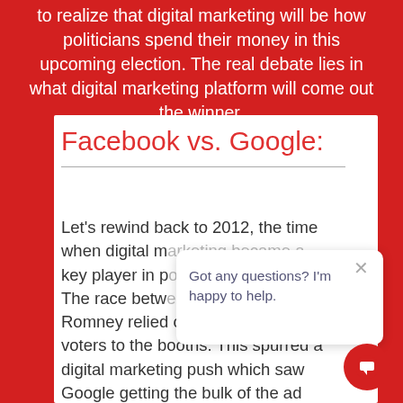to realize that digital marketing will be how politicians spend their money in this upcoming election. The real debate lies in what digital marketing platform will come out the winner.
Facebook vs. Google:
Let's rewind back to 2012, the time when digital m[arketing became a] key player in p[olitical campaigns.] The race betw[een Obama and] Romney relied on getting young voters to the booths. This spurred a digital marketing push which saw Google getting the bulk of the ad
Got any questions? I'm happy to help.